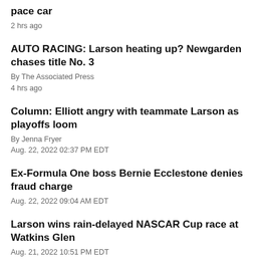pace car
2 hrs ago
AUTO RACING: Larson heating up? Newgarden chases title No. 3
By The Associated Press
4 hrs ago
Column: Elliott angry with teammate Larson as playoffs loom
By Jenna Fryer
Aug. 22, 2022 02:37 PM EDT
Ex-Formula One boss Bernie Ecclestone denies fraud charge
Aug. 22, 2022 09:04 AM EDT
Larson wins rain-delayed NASCAR Cup race at Watkins Glen
Aug. 21, 2022 10:51 PM EDT